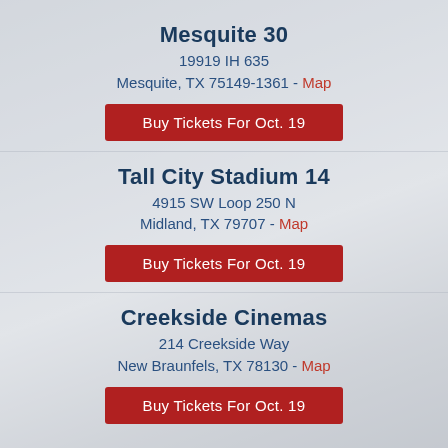Mesquite 30
19919 IH 635
Mesquite, TX 75149-1361 - Map
Buy Tickets For Oct. 19
Tall City Stadium 14
4915 SW Loop 250 N
Midland, TX 79707 - Map
Buy Tickets For Oct. 19
Creekside Cinemas
214 Creekside Way
New Braunfels, TX 78130 - Map
Buy Tickets For Oct. 19